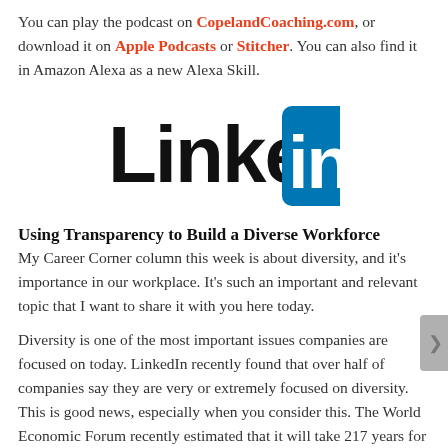You can play the podcast on CopelandCoaching.com, or download it on Apple Podcasts or Stitcher. You can also find it in Amazon Alexa as a new Alexa Skill.
[Figure (logo): LinkedIn logo — wordmark 'Linked' in black bold letters followed by a teal/blue square with 'in' in white bold letters]
Using Transparency to Build a Diverse Workforce
My Career Corner column this week is about diversity, and it's importance in our workplace. It's such an important and relevant topic that I want to share it with you here today.
Diversity is one of the most important issues companies are focused on today. LinkedIn recently found that over half of companies say they are very or extremely focused on diversity. This is good news, especially when you consider this. The World Economic Forum recently estimated that it will take 217 years for women to reach